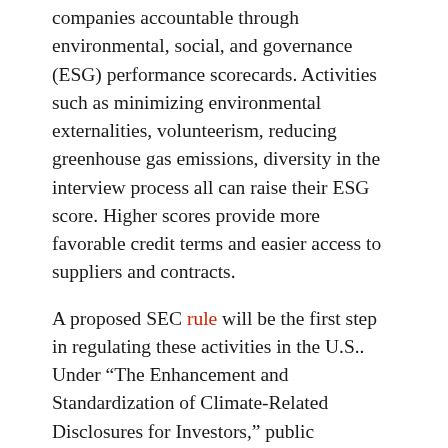companies accountable through environmental, social, and governance (ESG) performance scorecards. Activities such as minimizing environmental externalities, volunteerism, reducing greenhouse gas emissions, diversity in the interview process all can raise their ESG score. Higher scores provide more favorable credit terms and easier access to suppliers and contracts.
A proposed SEC rule will be the first step in regulating these activities in the U.S.. Under “The Enhancement and Standardization of Climate-Related Disclosures for Investors,” public companies must provide climate related information in their annual reports. This includes items like GHG reduction measures and climate risks.
Here are some examples:
“… interest in the construction industry might be…